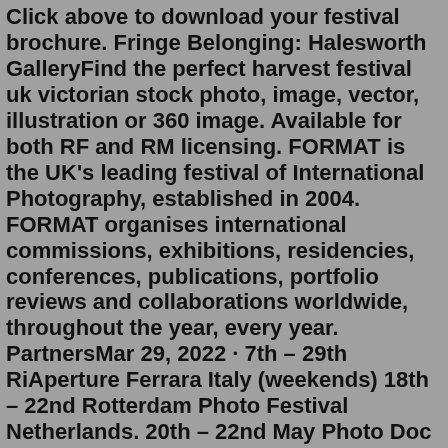Click above to download your festival brochure. Fringe Belonging: Halesworth GalleryFind the perfect harvest festival uk victorian stock photo, image, vector, illustration or 360 image. Available for both RF and RM licensing. FORMAT is the UK's leading festival of International Photography, established in 2004. FORMAT organises international commissions, exhibitions, residencies, conferences, publications, portfolio reviews and collaborations worldwide, throughout the year, every year. PartnersMar 29, 2022 · 7th – 29th RiAperture Ferrara Italy (weekends) 18th – 22nd Rotterdam Photo Festival Netherlands. 20th – 22nd May Photo Doc fair, Paris. 20th – 29th Eat It - environmental Photo Festival, Zingst, Germany. 21st May to 12th June Photolux Festival, Lucca Italy. 20th May to 18th September Hamburg Triennial of Photography, Germany. Our Festival. Are you an emerging photographer? Showcase your work at our festival. Our Collaborations. Working with charities and arts organisations to promote photography. ... The most